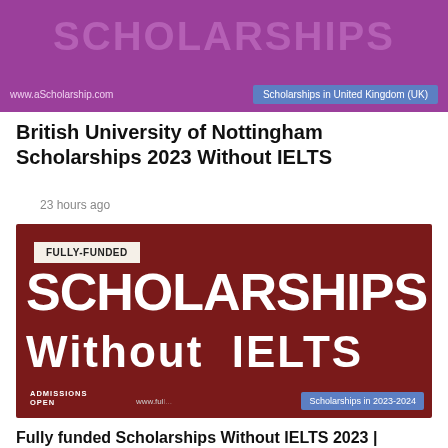[Figure (screenshot): Purple banner with www.aScholarship.com and a blue badge reading 'Scholarships in United Kingdom (UK)']
British University of Nottingham Scholarships 2023 Without IELTS
23 hours ago
[Figure (infographic): Dark red/maroon image with white text: FULLY-FUNDED badge, large text 'SCHOLARSHIPS Without IELTS', 'ADMISSIONS OPEN', 'www.full...', and blue badge 'Scholarships in 2023-2024']
Fully funded Scholarships Without IELTS 2023 | 15000+ Scholarships Vacancies